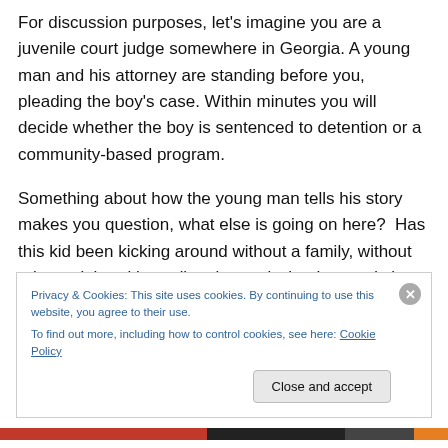For discussion purposes, let's imagine you are a juvenile court judge somewhere in Georgia. A young man and his attorney are standing before you, pleading the boy's case. Within minutes you will decide whether the boy is sentenced to detention or a community-based program.
Something about how the young man tells his story makes you question, what else is going on here?  Has this kid been kicking around without a family, without role models, without direction and what he needs is help or, is this one of those kids who really needs to be off the streets?  Is this
Privacy & Cookies: This site uses cookies. By continuing to use this website, you agree to their use.
To find out more, including how to control cookies, see here: Cookie Policy